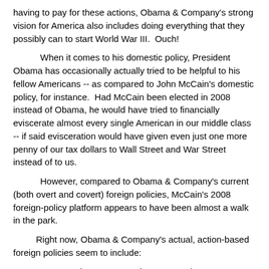having to pay for these actions, Obama & Company's strong vision for America also includes doing everything that they possibly can to start World War III.  Ouch!
When it comes to his domestic policy, President Obama has occasionally actually tried to be helpful to his fellow Americans -- as compared to John McCain's domestic policy, for instance.  Had McCain been elected in 2008 instead of Obama, he would have tried to financially eviscerate almost every single American in our middle class -- if said evisceration would have given even just one more penny of our tax dollars to Wall Street and War Street instead of to us.
However, compared to Obama & Company's current (both overt and covert) foreign policies, McCain's 2008 foreign-policy platform appears to have been almost a walk in the park.
Right now, Obama & Company's actual, action-based foreign policies seem to include:
1.  Supporting anyone and everyone who can create chaos in the Middle East -- including but not limited to Israel, the Saudis and even ISIS and Al Qaeda https://ingaza.wordpress.com/2015/04/14/canadians-for-